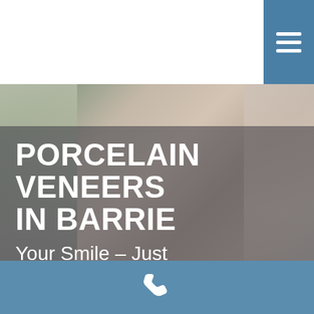[Figure (photo): Dental veneer shade guide tools and porcelain veneers shown as a blurred background photo with grey-brown tones and a teal blue area in the upper right.]
PORCELAIN VENEERS IN BARRIE
Your Smile – Just Better
Get a more beautiful, whiter and cleaner smile today with the application of porcelain veneers. The Chapnick Dental Office has assisted hundreds of patients
Phone contact icon